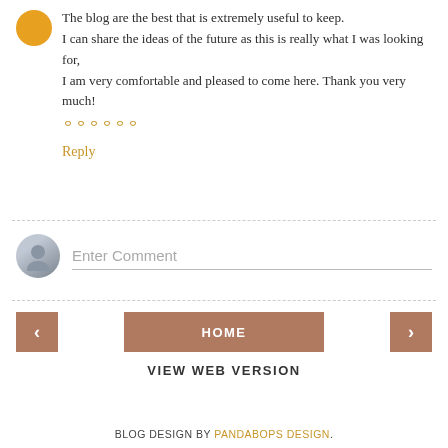The blog are the best that is extremely useful to keep.
I can share the ideas of the future as this is really what I was looking for,
I am very comfortable and pleased to come here. Thank you very much!
ᄋᄋᄋᄋᄋᄋ
Reply
Enter Comment
HOME
VIEW WEB VERSION
BLOG DESIGN BY PANDABOPS DESIGN.